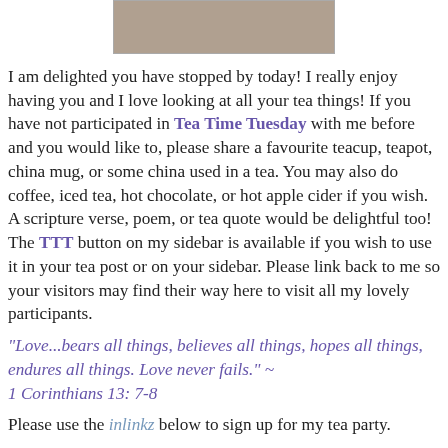[Figure (photo): Partial photo of tea cups and saucers on a table, cropped at top]
I am delighted you have stopped by today! I really enjoy having you and I love looking at all your tea things! If you have not participated in Tea Time Tuesday with me before and you would like to, please share a favourite teacup, teapot, china mug, or some china used in a tea. You may also do coffee, iced tea, hot chocolate, or hot apple cider if you wish. A scripture verse, poem, or tea quote would be delightful too! The TTT button on my sidebar is available if you wish to use it in your tea post or on your sidebar. Please link back to me so your visitors may find their way here to visit all my lovely participants.
"Love...bears all things, believes all things, hopes all things, endures all things. Love never fails." ~ 1 Corinthians 13: 7-8
Please use the inlinkz below to sign up for my tea party.
I am also joining the following hostesses for their parties -